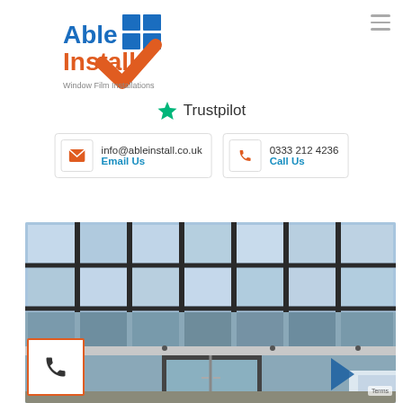[Figure (logo): Able Install - Window Film Installations logo with blue and orange checkmark design]
[Figure (logo): Trustpilot green star logo with text 'Trustpilot']
info@ableinstall.co.uk
Email Us
0333 212 4236
Call Us
[Figure (photo): Commercial building with large reflective glass curtain wall facade, showing blue-tinted window film installation, automatic sliding entrance doors, and a van partially visible at right edge]